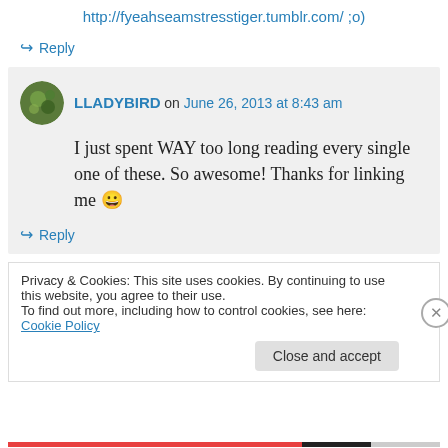http://fyeahseamstresstiger.tumblr.com/ ;o)
↪ Reply
LLADYBIRD on June 26, 2013 at 8:43 am
I just spent WAY too long reading every single one of these. So awesome! Thanks for linking me 😀
↪ Reply
Privacy & Cookies: This site uses cookies. By continuing to use this website, you agree to their use. To find out more, including how to control cookies, see here: Cookie Policy
Close and accept